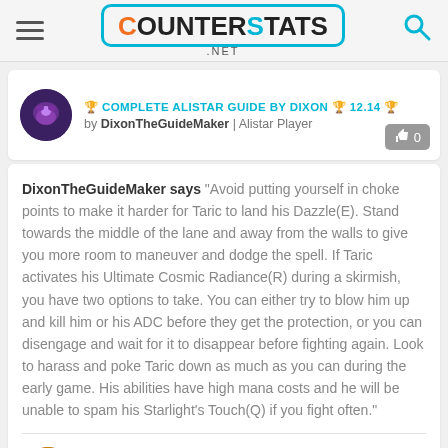COUNTERSTATS.NET
🏆 COMPLETE ALISTAR GUIDE BY DIXON 🏆 12.14 🏆
by DixonTheGuideMaker | Alistar Player
DixonTheGuideMaker says "Avoid putting yourself in choke points to make it harder for Taric to land his Dazzle(E). Stand towards the middle of the lane and away from the walls to give you more room to maneuver and dodge the spell. If Taric activates his Ultimate Cosmic Radiance(R) during a skirmish, you have two options to take. You can either try to blow him up and kill him or his ADC before they get the protection, or you can disengage and wait for it to disappear before fighting again. Look to harass and poke Taric down as much as you can during the early game. His abilities have high mana costs and he will be unable to spam his Starlight's Touch(Q) if you fight often."
🏆 BARD GUIDE BY DIXON 🏆 12.14 🏆
by DixonTheGuideMaker | Bard Player